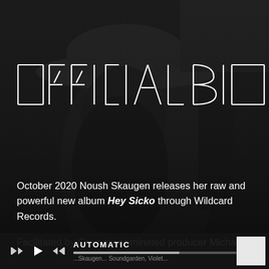[Figure (photo): Black and white photo of a woman with dreadlocks wearing a wide-brim hat, holding a guitar, serving as the background image]
OFFICIAL BIO
October 2020 Noush Skaugen releases her raw and powerful new album Hey Sicko through Wildcard Records.
Facilitated by Grammy nominated producer Michael
AUTOMATIC